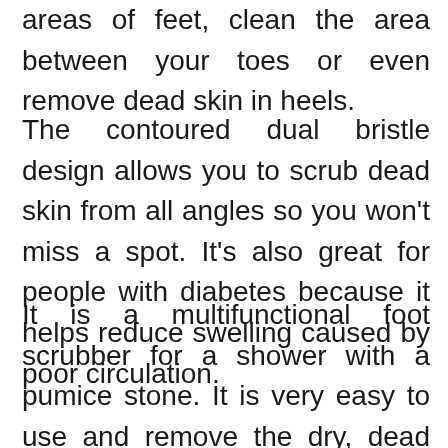areas of feet, clean the area between your toes or even remove dead skin in heels.
The contoured dual bristle design allows you to scrub dead skin from all angles so you won't miss a spot. It's also great for people with diabetes because it helps reduce swelling caused by poor circulation.
It is a multifunctional foot scrubber for a shower with a pumice stone. It is very easy to use and remove the dry, dead skin away. Say goodbye to calluses, corn, and other annoying foot skin problems.